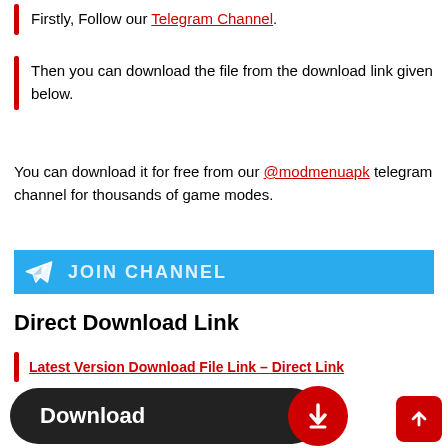Firstly, Follow our Telegram Channel.
Then you can download the file from the download link given below.
You can download it for free from our @modmenuapk telegram channel for thousands of game modes.
[Figure (screenshot): Telegram channel banner with blue background and logo]
Direct Download Link
Latest Version Download File Link – Direct Link
[Figure (screenshot): Dark rounded download button with red circular arrow icon and white Download text]